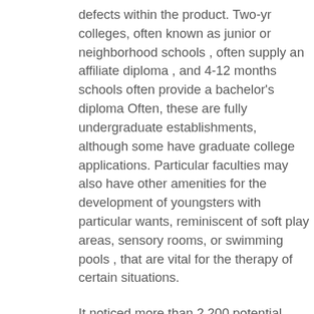defects within the product. Two-yr colleges, often known as junior or neighborhood schools , often supply an affiliate diploma , and 4-12 months schools often provide a bachelor's diploma Often, these are fully undergraduate establishments, although some have graduate college applications. Particular faculties may also have other amenities for the development of youngsters with particular wants, reminiscent of soft play areas, sensory rooms, or swimming pools , that are vital for the therapy of certain situations.
It noticed more than 2,200 potential planets in its first full-sky scan , scientists introduced in